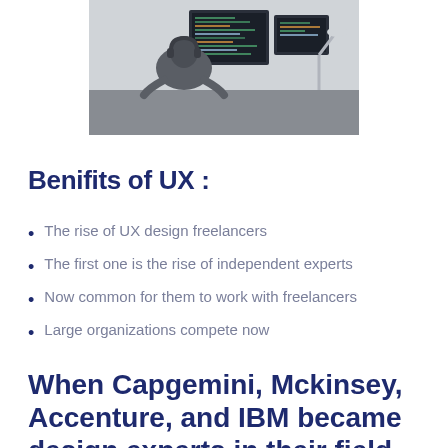[Figure (photo): Person sitting at a computer workstation with monitors showing code, photographed from behind, desk lamp visible on the right]
Benifits of UX :
The rise of UX design freelancers
The first one is the rise of independent experts
Now common for them to work with freelancers
Large organizations compete now
When Capgemini, Mckinsey, Accenture, and IBM became design experts in their field